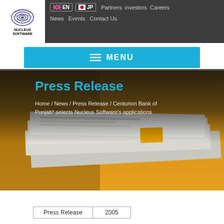[Figure (logo): Nucleus Software logo with concentric arc design and text NUCLEUS SOFTWARE]
EN  JP  Partners investors Careers
News Events Contact Us
≡ MENU
Press Release
Home / News / Press Release / Centurion Bank of Punjab* selects Nucleus Software's applications
[Figure (photo): Stack of newspapers on a wooden surface, slightly blurred background]
| Press Release | 2005 |
| --- | --- |